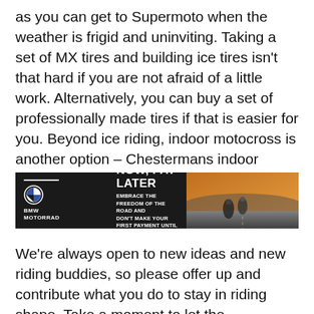as you can get to Supermoto when the weather is frigid and uninviting. Taking a set of MX tires and building ice tires isn't that hard if you are not afraid of a little work. Alternatively, you can buy a set of professionally made tires if that is easier for you. Beyond ice riding, indoor motocross is another option – Chestermans indoor motocross is a challenging track located in Tillsonburg, Ontario.
[Figure (other): BMW Motorrad advertisement banner with black background. Headline: RIDE NOW, PAY LATER. Subtext: EMBRACE THE FREEDOM OF THE ROAD AND DON'T MAKE YOUR FIRST PAYMENT UNTIL APRIL 2023. Fine print: Promotion ends September 30, 2022. Certain conditions apply. Right side shows motorcyclists riding on a road with warm golden tones.]
We're always open to new ideas and new riding buddies, so please offer up and contribute what you do to stay in riding shape. Take a moment to let the motorcycle racing community know what you do to stay in shape in the off-season.